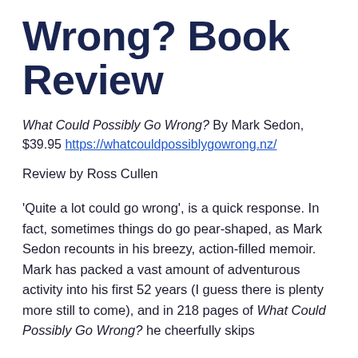Wrong? Book Review
What Could Possibly Go Wrong? By Mark Sedon, $39.95 https://whatcouldpossiblygowrong.nz/
Review by Ross Cullen
'Quite a lot could go wrong', is a quick response. In fact, sometimes things do go pear-shaped, as Mark Sedon recounts in his breezy, action-filled memoir. Mark has packed a vast amount of adventurous activity into his first 52 years (I guess there is plenty more still to come), and in 218 pages of What Could Possibly Go Wrong? he cheerfully skips